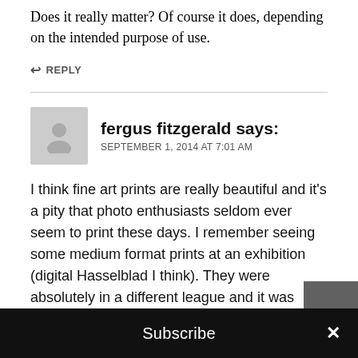Does it really matter? Of course it does, depending on the intended purpose of use.
↩ REPLY
fergus fitzgerald says: SEPTEMBER 1, 2014 AT 7:01 AM
I think fine art prints are really beautiful and it's a pity that photo enthusiasts seldom ever seem to print these days. I remember seeing some medium format prints at an exhibition (digital Hasselblad I think). They were absolutely in a different league and it was beyond debate. I appreciated them on an artistic and technical level. By way of fairness and balance I have
Subscribe ×